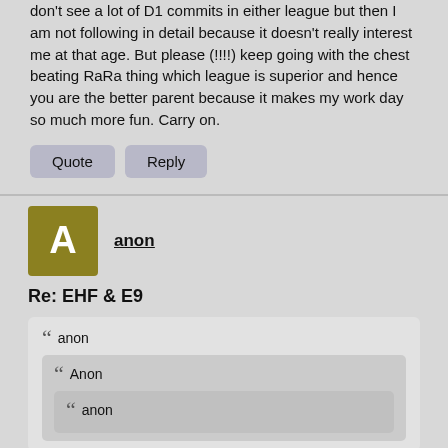don't see a lot of D1 commits in either league but then I am not following in detail because it doesn't really interest me at that age. But please (!!!!) keep going with the chest beating RaRa thing which league is superior and hence you are the better parent because it makes my work day so much more fun. Carry on.
Quote  Reply
anon
Re: EHF & E9
anon
Anon
anon